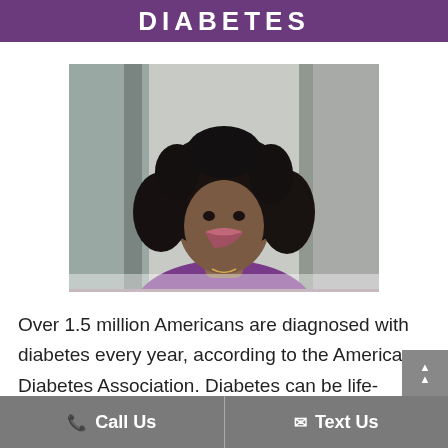DIABETES
[Figure (photo): Smiling Black woman with curly hair wearing a purple top, photographed indoors]
Over 1.5 million Americans are diagnosed with diabetes every year, according to the American Diabetes Association. Diabetes can be life-changing, but it's
Call Us   Text Us